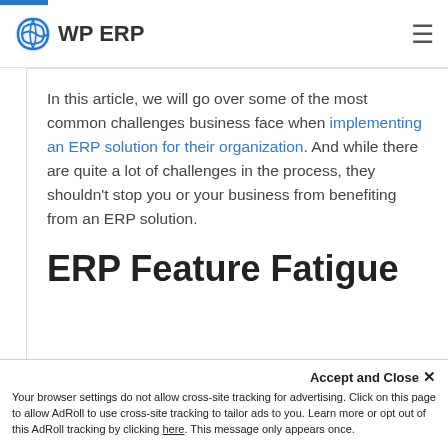[Figure (logo): WP ERP logo with blue spiral/globe icon and hamburger menu icon on the right]
In this article, we will go over some of the most common challenges business face when implementing an ERP solution for their organization. And while there are quite a lot of challenges in the process, they shouldn't stop you or your business from benefiting from an ERP solution.
ERP Feature Fatigue
Your browser settings do not allow cross-site tracking for advertising. Click on this page to allow AdRoll to use cross-site tracking to tailor ads to you. Learn more or opt out of this AdRoll tracking by clicking here. This message only appears once.